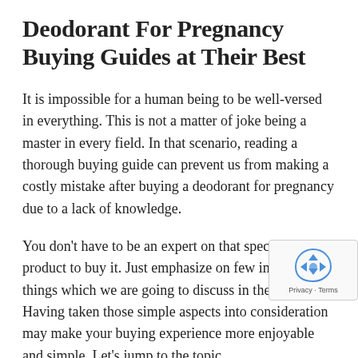Deodorant For Pregnancy Buying Guides at Their Best
It is impossible for a human being to be well-versed in everything. This is not a matter of joke being a master in every field. In that scenario, reading a thorough buying guide can prevent us from making a costly mistake after buying a deodorant for pregnancy due to a lack of knowledge.
You don't have to be an expert on that specific product to buy it. Just emphasize on few important things which we are going to discuss in the below. Having taken those simple aspects into consideration may make your buying experience more enjoyable and simple. Let's jump to the topic
Identify the